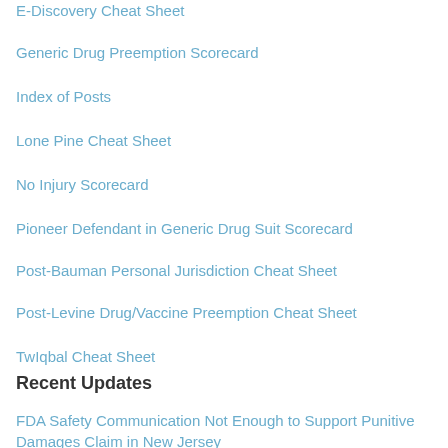E-Discovery Cheat Sheet
Generic Drug Preemption Scorecard
Index of Posts
Lone Pine Cheat Sheet
No Injury Scorecard
Pioneer Defendant in Generic Drug Suit Scorecard
Post-Bauman Personal Jurisdiction Cheat Sheet
Post-Levine Drug/Vaccine Preemption Cheat Sheet
TwIqbal Cheat Sheet
Recent Updates
FDA Safety Communication Not Enough to Support Punitive Damages Claim in New Jersey